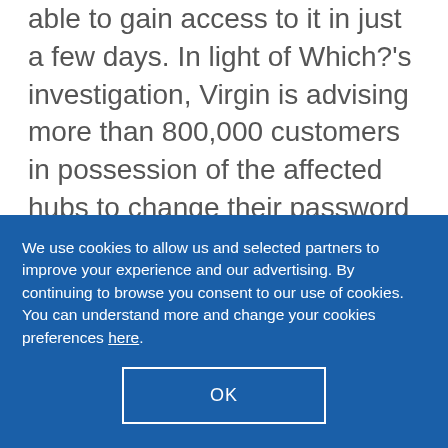able to gain access to it in just a few days. In light of Which?'s investigation, Virgin is advising more than 800,000 customers in possession of the affected hubs to change their password immediately. Virgin Media broadband was already in the home and there could potentially be similar security issues with other broadband providers and their routers
Wireless CCTV – Some wireless cameras
We use cookies to allow us and selected partners to improve your experience and our advertising. By continuing to browse you consent to our use of cookies. You can understand more and change your cookies preferences here.